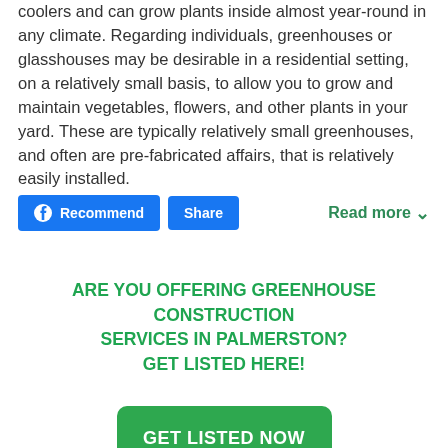coolers and can grow plants inside almost year-round in any climate. Regarding individuals, greenhouses or glasshouses may be desirable in a residential setting, on a relatively small basis, to allow you to grow and maintain vegetables, flowers, and other plants in your yard. These are typically relatively small greenhouses, and often are pre-fabricated affairs, that is relatively easily installed.
Recommend  Share  Read more
ARE YOU OFFERING GREENHOUSE CONSTRUCTION SERVICES IN PALMERSTON? GET LISTED HERE!
GET LISTED NOW